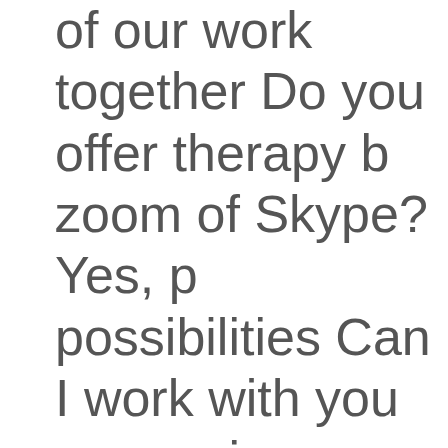of our work together Do you offer therapy by zoom of Skype? Yes, possibilities Can I work with you on worries privately? Certainly creatively work in a private work this through.